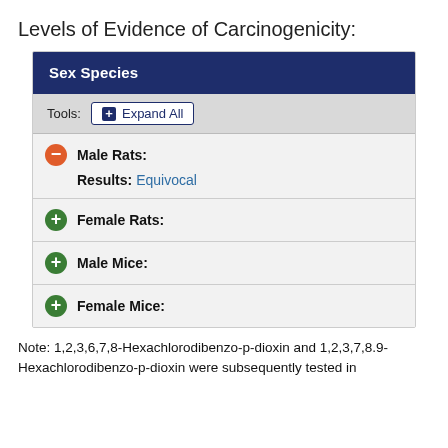Levels of Evidence of Carcinogenicity:
| Sex Species |
| --- |
| Male Rats: Results: Equivocal |
| Female Rats: |
| Male Mice: |
| Female Mice: |
Note: 1,2,3,6,7,8-Hexachlorodibenzo-p-dioxin and 1,2,3,7,8.9-Hexachlorodibenzo-p-dioxin were subsequently tested in